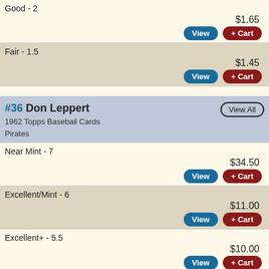Good - 2
$1.65
Fair - 1.5
$1.45
#36 Don Leppert
1962 Topps Baseball Cards
Pirates
Near Mint - 7
$34.50
Excellent/Mint - 6
$11.00
Excellent+ - 5.5
$10.00
Excellent - 5
$3.75